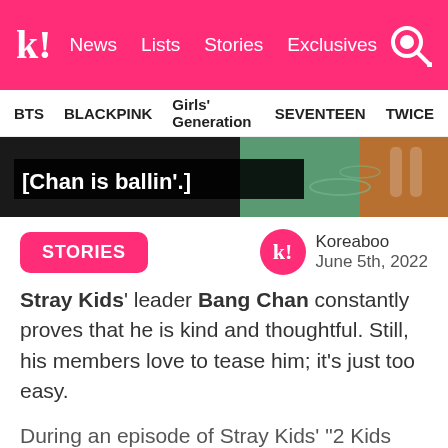k! News Lists Stories Exclusives [search]
BTS  BLACKPINK  Girls' Generation  SEVENTEEN  TWICE
[Figure (screenshot): Video thumbnail showing '[Chan is ballin'.]' text overlay on dark background with pool/water scene]
STORIES
Koreaboo
June 5th, 2022
Stray Kids' leader Bang Chan constantly proves that he is kind and thoughtful. Still, his members love to tease him; it's just too easy.
During an episode of Stray Kids' “2 Kids Room,” Felix and Bang Chan discussed gift-giving, and the latter mentioned his philosophy. Bang Chan likes to give presents with the hope that the